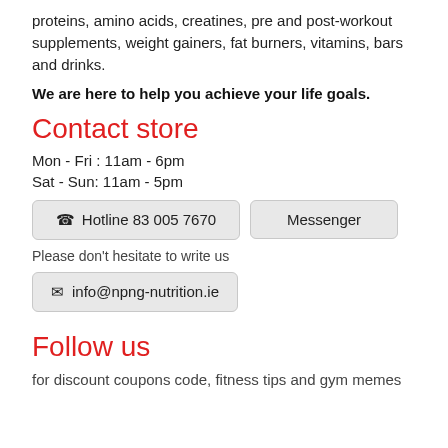proteins, amino acids, creatines, pre and post-workout supplements, weight gainers, fat burners, vitamins, bars and drinks.
We are here to help you achieve your life goals.
Contact store
Mon - Fri : 11am - 6pm
Sat - Sun: 11am - 5pm
☎ Hotline 83 005 7670
Messenger
Please don't hesitate to write us
✉ info@npng-nutrition.ie
Follow us
for discount coupons code, fitness tips and gym memes